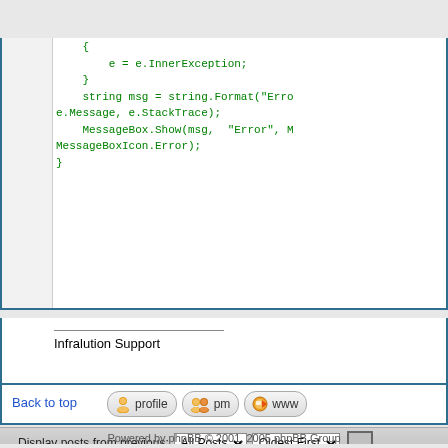[Figure (screenshot): Code block showing C# exception handling code with green syntax highlighting on white background]
Infralution Support
Back to top
Display posts from previous: All Posts  Oldest First
new topic   postreply   Infralution Support Forum Index -> .NET Encr
Page 1 of 1
Jump to: .NET Encryptor
You
Yo
You
You c
Powered by phpBB © 2001, 2005 phpBB Group